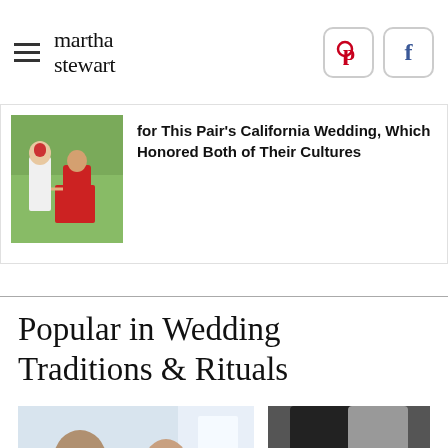martha stewart
for This Pair's California Wedding, Which Honored Both of Their Cultures
Popular in Wedding Traditions & Rituals
[Figure (photo): Two people at a wedding, one in a red lehenga and one in white, holding hands outdoors]
[Figure (photo): A man and woman smiling together indoors, light background]
[Figure (photo): A woman and man posing together against a dark background]